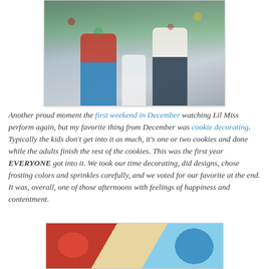[Figure (photo): Family photo showing two adults and a child standing in front of a Christmas tree with decorations and gifts. The man on the left wears a red sweater and jeans, the child in the middle wears a Christmas sweater and white skirt, and the woman on the right wears a cream sweater and jeans with brown boots.]
Another proud moment the first weekend in December watching Lil Miss perform again, but my favorite thing from December was cookie decorating. Typically the kids don't get into it as much, it's one or two cookies and done while the adults finish the rest of the cookies. This was the first year EVERYONE got into it. We took our time decorating, did designs, chose frosting colors and sprinkles carefully, and we voted for our favorite at the end. It was, overall, one of those afternoons with feelings of happiness and contentment.
[Figure (photo): Close-up photo of decorated sugar cookies on a red plate. The cookies are decorated with colorful frosting including green, pink/red, and blue, with sprinkles visible on a blue snowflake-shaped cookie.]